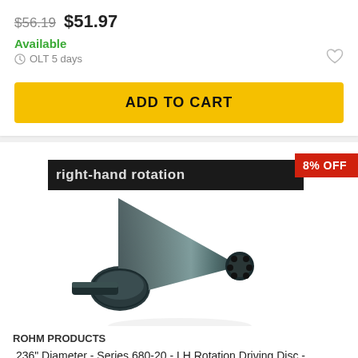$56.19  $51.97
Available
OLT 5 days
ADD TO CART
[Figure (photo): A dark metallic conical/funnel-shaped tool component (driving disc) shown against a white background. A black banner reads 'right-hand rotation'. A red badge in the top-right corner reads '8% OFF'.]
ROHM PRODUCTS
.236" Diameter - Series 680-20 - LH Rotation Driving Disc - Modular Face Drivers
88083